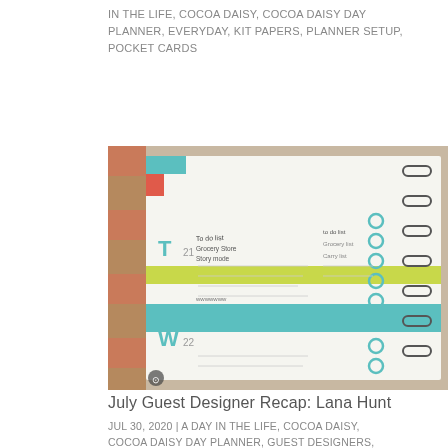IN THE LIFE, COCOA DAISY, COCOA DAISY DAY PLANNER, EVERYDAY, KIT PAPERS, PLANNER SETUP, POCKET CARDS
[Figure (photo): Close-up photo of a colorful day planner/organizer open to a decorated week spread, with teal, yellow, green and red tabs, handwritten notes, circle stickers, and binder rings visible on the right side.]
July Guest Designer Recap: Lana Hunt
JUL 30, 2020 | A DAY IN THE LIFE, COCOA DAISY, COCOA DAISY DAY PLANNER, GUEST DESIGNERS, WASHI TAPE